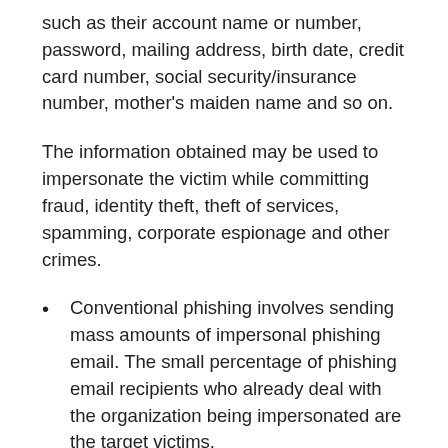such as their account name or number, password, mailing address, birth date, credit card number, social security/insurance number, mother's maiden name and so on.
The information obtained may be used to impersonate the victim while committing fraud, identity theft, theft of services, spamming, corporate espionage and other crimes.
Conventional phishing involves sending mass amounts of impersonal phishing email. The small percentage of phishing email recipients who already deal with the organization being impersonated are the target victims.
Targeted phishing (“spear-phishing”) involves sending the target victims personalized emails. At the phishing site, the target may even be greeted